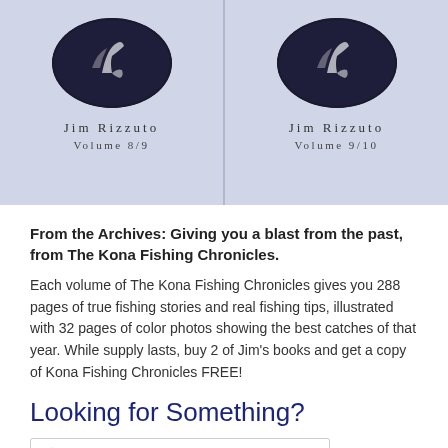[Figure (photo): Two book covers side by side for The Kona Fishing Chronicles by Jim Rizzuto, Volume 8/9 and Volume 9/10. Each has an oval image with a dark background showing a heron or bird. Background is light blue-grey.]
From the Archives: Giving you a blast from the past, from The Kona Fishing Chronicles.
Each volume of The Kona Fishing Chronicles gives you 288 pages of true fishing stories and real fishing tips, illustrated with 32 pages of color photos showing the best catches of that year. While supply lasts, buy 2 of Jim's books and get a copy of Kona Fishing Chronicles FREE!
Looking for Something?
Search
Recent Posts